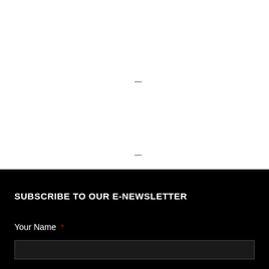[Figure (other): White background upper section with two small horizontal dash marks]
SUBSCRIBE TO OUR E-NEWSLETTER
Your Name *